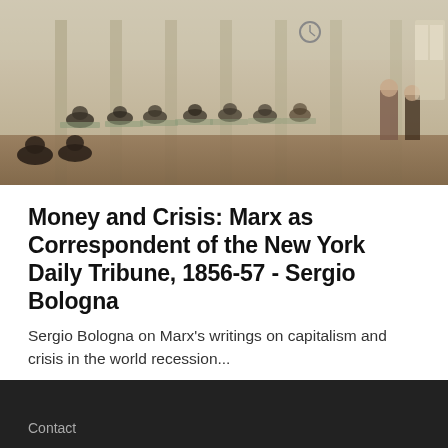[Figure (photo): Historical painting of a crowded reading room or stock exchange hall, people seated at desks reading newspapers or documents, tall columns, clock on wall, muted greenish-brown tones.]
Money and Crisis: Marx as Correspondent of the New York Daily Tribune, 1856-57 - Sergio Bologna
Sergio Bologna on Marx's writings on capitalism and crisis in the world recession...
[Figure (infographic): Social media share icons: Facebook, Patreon, Mastodon, Twitter — all in blue.]
Contact